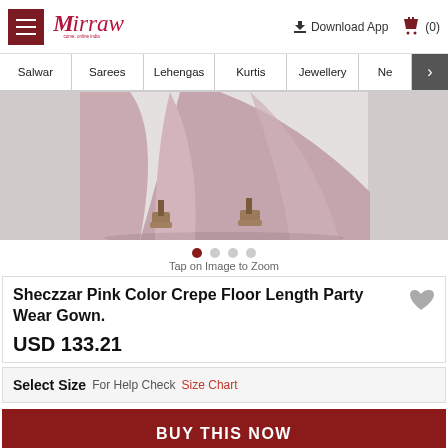Mirraw — COME, SHINE INDIA | Download App | (0)
[Figure (screenshot): Navigation bar with categories: Salwar, Sarees, Lehengas, Kurtis, Jewellery, Ne (more)]
[Figure (photo): Product photo showing lower half of a woman wearing a pink/mauve crepe floor-length party wear gown with heeled sandals on a light grey background]
Tap on Image to Zoom
Sheczzar Pink Color Crepe Floor Length Party Wear Gown.
USD 133.21
Select Size   For Help Check Size Chart
BUY THIS NOW